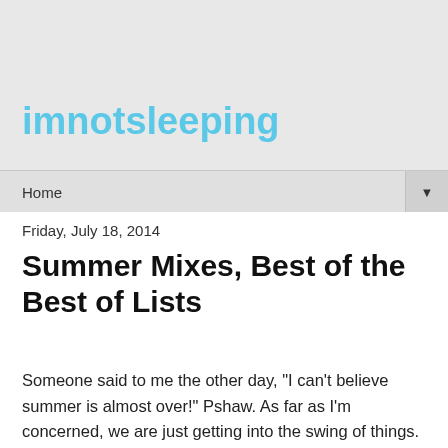imnotsleeping
Home
Friday, July 18, 2014
Summer Mixes, Best of the Best of Lists
Someone said to me the other day, "I can't believe summer is almost over!" Pshaw. As far as I'm concerned, we are just getting into the swing of things. These are the dog days of summer. The hot, humid, long, sunny days. If there's a